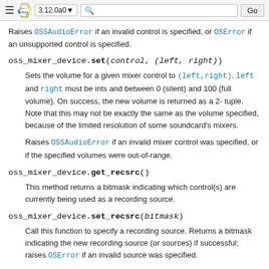≡ 🐍 3.12.0a0 ▾  [search]  Go
Raises OSSAudioError if an invalid control is specified, or OSError if an unsupported control is specified.
oss_mixer_device.set(control, (left, right))
Sets the volume for a given mixer control to (left,right). left and right must be ints and between 0 (silent) and 100 (full volume). On success, the new volume is returned as a 2-tuple. Note that this may not be exactly the same as the volume specified, because of the limited resolution of some soundcard's mixers.
Raises OSSAudioError if an invalid mixer control was specified, or if the specified volumes were out-of-range.
oss_mixer_device.get_recsrc()
This method returns a bitmask indicating which control(s) are currently being used as a recording source.
oss_mixer_device.set_recsrc(bitmask)
Call this function to specify a recording source. Returns a bitmask indicating the new recording source (or sources) if successful; raises OSError if an invalid source was specified.